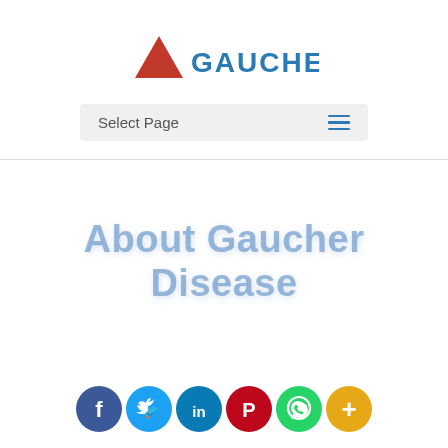[Figure (logo): Gaucher organization logo with a red triangle and blue text reading GAUCHER]
Select Page
About Gaucher Disease
[Figure (infographic): Social media sharing icons: Facebook (dark blue), Twitter (light blue), LinkedIn (teal), Pinterest (red), WhatsApp (green), More/Add (orange)]